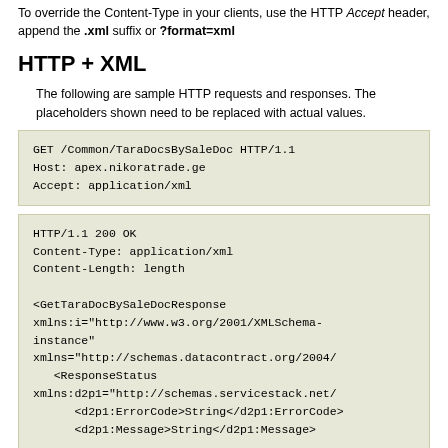To override the Content-Type in your clients, use the HTTP Accept header, append the .xml suffix or ?format=xml
HTTP + XML
The following are sample HTTP requests and responses. The placeholders shown need to be replaced with actual values.
GET /Common/TaraDocsBySaleDoc HTTP/1.1
Host: apex.nikoratrade.ge
Accept: application/xml
HTTP/1.1 200 OK
Content-Type: application/xml
Content-Length: length

<GetTaraDocBySaleDocResponse
xmlns:i="http://www.w3.org/2001/XMLSchema-instance"
xmlns="http://schemas.datacontract.org/2004/
   <ResponseStatus
xmlns:d2p1="http://schemas.servicestack.net/
      <d2p1:ErrorCode>String</d2p1:ErrorCode>
      <d2p1:Message>String</d2p1:Message>

<d2p1:StackTrace>String</d2p1:StackTrace>
      <d2p1:Errors>